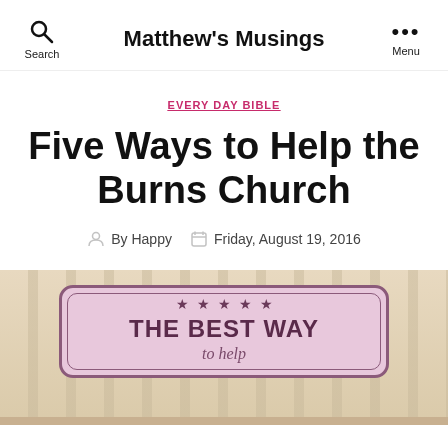Matthew's Musings
EVERY DAY BIBLE
Five Ways to Help the Burns Church
By Happy   Friday, August 19, 2016
[Figure (photo): Decorative badge image with text 'THE BEST WAY to help' on a pink/beige striped background with purple border and stars]